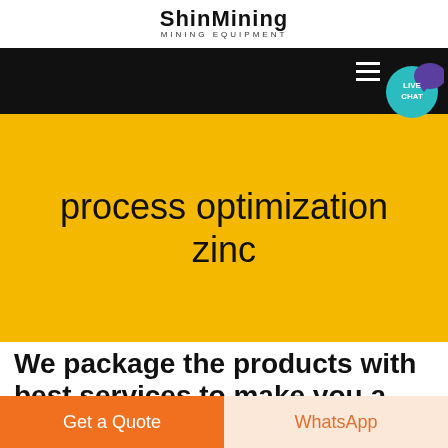ShinMining
MINING EQUIPMENT
[Figure (screenshot): Black navigation bar with hamburger menu icon and live chat bubble (teal circle with LIVE CHAT text and purple speech bubble icon)]
process optimization zinc
We package the products with best services to make you a happy
Get a Quote
WhatsApp